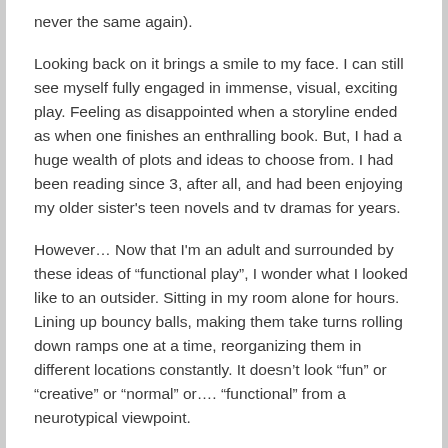never the same again).
Looking back on it brings a smile to my face. I can still see myself fully engaged in immense, visual, exciting play. Feeling as disappointed when a storyline ended as when one finishes an enthralling book. But, I had a huge wealth of plots and ideas to choose from. I had been reading since 3, after all, and had been enjoying my older sister's teen novels and tv dramas for years.
However… Now that I'm an adult and surrounded by these ideas of “functional play”, I wonder what I looked like to an outsider. Sitting in my room alone for hours. Lining up bouncy balls, making them take turns rolling down ramps one at a time, reorganizing them in different locations constantly. It doesn't look “fun” or “creative” or “normal” or…. “functional” from a neurotypical viewpoint.